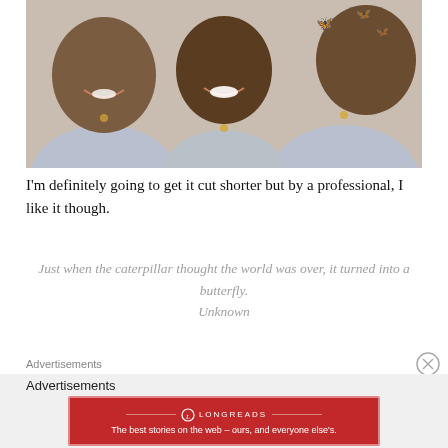[Figure (photo): Three people wearing light blue/grey tops posing together for a photo, smiling at camera, with butterfly decorations visible in the background]
I'm definitely going to get it cut shorter but by a professional, I like it though.
Just when the caterpillar thought the world was over, it turned into a butterfly.
Unknown
Advertisements
Advertisements
[Figure (logo): Longreads advertisement banner: 'The best stories on the web – ours, and everyone else's.']